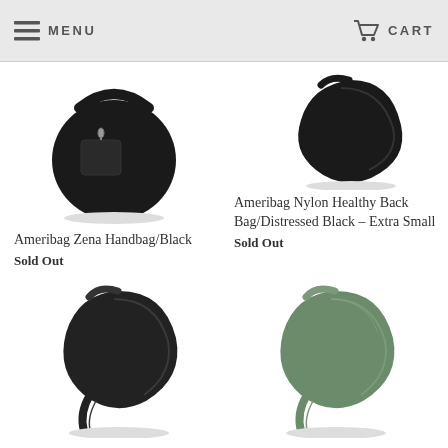MENU   CART
[Figure (photo): Black Ameribag Zena Handbag, front view]
Ameribag Zena Handbag/Black
Sold Out
[Figure (photo): Ameribag Nylon Healthy Back Bag in Distressed Black, Extra Small]
Ameribag Nylon Healthy Back Bag/Distressed Black – Extra Small
Sold Out
[Figure (photo): Black healthy back bag, small, bottom left]
[Figure (photo): Sage/olive green healthy back bag, bottom right]